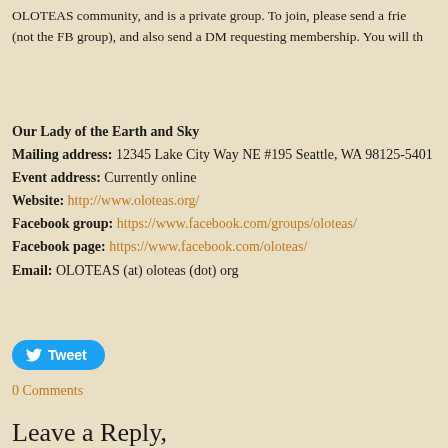OLOTEAS community, and is a private group. To join, please send a frie (not the FB group), and also send a DM requesting membership. You will th
Our Lady of the Earth and Sky
Mailing address: 12345 Lake City Way NE #195 Seattle, WA 98125-5401
Event address: Currently online
Website: http://www.oloteas.org/
Facebook group: https://www.facebook.com/groups/oloteas/
Facebook page: https://www.facebook.com/oloteas/
Email: OLOTEAS (at) oloteas (dot) org
[Figure (other): Tweet button with Twitter bird icon]
0 Comments
Leave a Reply,